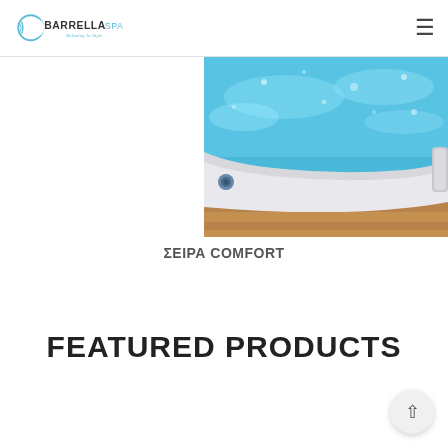BARRELLA SPA — Relaxing In Style
[Figure (photo): Close-up photo of a hot tub / spa with bubbling blue water, white acrylic shell edges, and a wooden deck surround. A small circular jet nozzle is visible on the lower left edge.]
ΣΕΙΡΑ COMFORT
FEATURED PRODUCTS